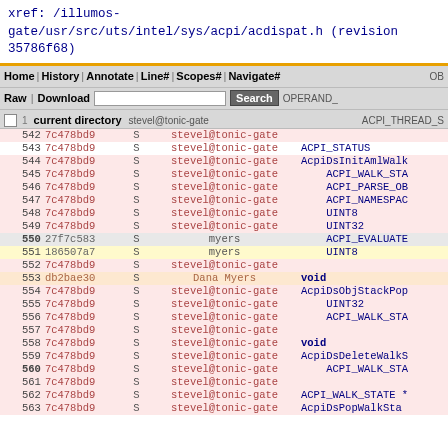xref: /illumos-gate/usr/src/uts/intel/sys/acpi/acdispat.h (revision 35786f68)
Home | History | Annotate | Line# | Scopes# | Navigate# | Raw | Download | Search | current directory
| line | hash | S | author | code |
| --- | --- | --- | --- | --- |
| 539 | 7c478bd9 | S | stevel@tonic-gate | ACPI9PARSE_OB... |
| 540 | 7c478bd9 | S | stevel@tonic-gate | ACPI_OPERAND_... |
| 541 | 7c478bd9 | S | stevel@tonic-gate | ACPI_THREAD_S... |
| 542 | 7c478bd9 | S | stevel@tonic-gate |  |
| 543 | 7c478bd9 | S | stevel@tonic-gate | ACPI_STATUS |
| 544 | 7c478bd9 | S | stevel@tonic-gate | AcpiDsInitAmlWalk... |
| 545 | 7c478bd9 | S | stevel@tonic-gate |     ACPI_WALK_STA... |
| 546 | 7c478bd9 | S | stevel@tonic-gate |     ACPI_PARSE_OB... |
| 547 | 7c478bd9 | S | stevel@tonic-gate |     ACPI_NAMESPAC... |
| 548 | 7c478bd9 | S | stevel@tonic-gate |     UINT8 |
| 549 | 7c478bd9 | S | stevel@tonic-gate |     UINT32 |
| 550 | 27f7c583 | S | myers |     ACPI_EVALUATE... |
| 551 | 186507a7 | S | myers |     UINT8 |
| 552 | 7c478bd9 | S | stevel@tonic-gate |  |
| 553 | db2bae30 | S | Dana Myers | void |
| 554 | 7c478bd9 | S | stevel@tonic-gate | AcpiDsObjStackPop... |
| 555 | 7c478bd9 | S | stevel@tonic-gate |     UINT32 |
| 556 | 7c478bd9 | S | stevel@tonic-gate |     ACPI_WALK_STA... |
| 557 | 7c478bd9 | S | stevel@tonic-gate |  |
| 558 | 7c478bd9 | S | stevel@tonic-gate | void |
| 559 | 7c478bd9 | S | stevel@tonic-gate | AcpiDsDeleteWalkS... |
| 560 | 7c478bd9 | S | stevel@tonic-gate |     ACPI_WALK_STA... |
| 561 | 7c478bd9 | S | stevel@tonic-gate |  |
| 562 | 7c478bd9 | S | stevel@tonic-gate | ACPI_WALK_STATE * |
| 563 | 7c478bd9 | S | stevel@tonic-gate | AcpiDsPopWalkSta... |